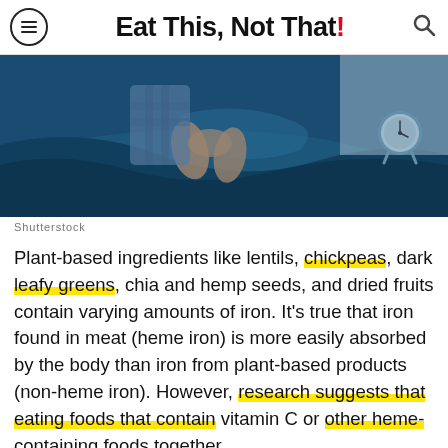Eat This, Not That!
[Figure (photo): Person sitting on a bed with teal/blue bedding, feet visible, alarm clock in background — representing insomnia or restless sleep. Blue-toned photo.]
Shutterstock
Plant-based ingredients like lentils, chickpeas, dark leafy greens, chia and hemp seeds, and dried fruits contain varying amounts of iron. It's true that iron found in meat (heme iron) is more easily absorbed by the body than iron from plant-based products (non-heme iron). However, research suggests that eating foods that contain vitamin C or other heme-containing foods together